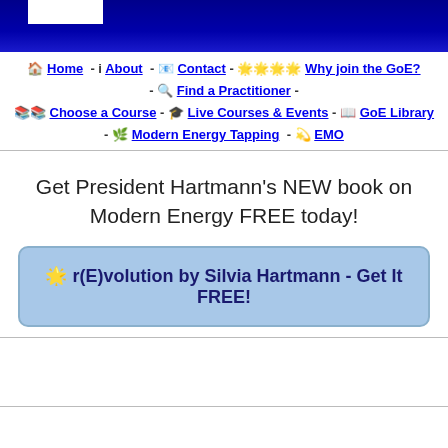[Figure (other): Dark blue banner header with white box element in top-left corner]
🏠 Home - i About - 📧 Contact - 🌟🌟🌟🌟 Why join the GoE? - 🔍 Find a Practitioner - 📚📚 Choose a Course - 🎓 Live Courses & Events - 📖 GoE Library - 🌿 Modern Energy Tapping - 💫 EMO
Get President Hartmann's NEW book on Modern Energy FREE today!
🌟 r(E)volution by Silvia Hartmann - Get It FREE!
GoE Privacy Policy and Terms & Conditions - Site Index XML